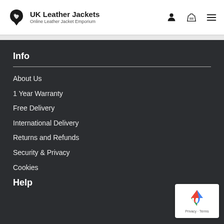UK Leather Jackets – Online Leather Jacket Emporium
Info
About Us
1 Year Warranty
Free Delivery
International Delivery
Returns and Refunds
Security & Privacy
Cookies
Help